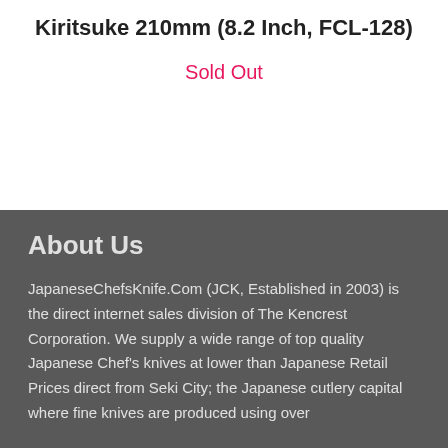Kiritsuke 210mm (8.2 Inch, FCL-128)
Sold Out
About Us
JapaneseChefsKnife.Com (JCK, Established in 2003) is the direct internet sales division of The Kencrest Corporation. We supply a wide range of top quality Japanese Chef's knives at lower than Japanese Retail Prices direct from Seki City; the Japanese cutlery capital where fine knives are produced using over